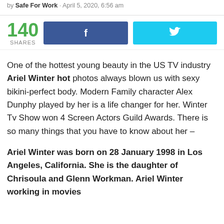by Safe For Work · April 5, 2020, 6:56 am
140 SHARES [Facebook share button] [Twitter share button]
One of the hottest young beauty in the US TV industry Ariel Winter hot photos always blown us with sexy bikini-perfect body. Modern Family character Alex Dunphy played by her is a life changer for her. Winter Tv Show won 4 Screen Actors Guild Awards. There is so many things that you have to know about her –
Ariel Winter was born on 28 January 1998 in Los Angeles, California. She is the daughter of Chrisoula and Glenn Workman. Ariel Winter working in movies